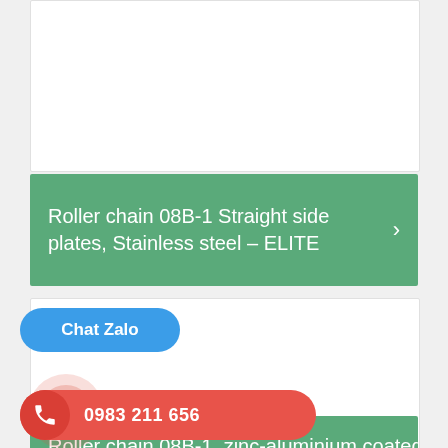[Figure (other): Partial white product card at top of page, content not visible]
Roller chain 08B-1 Straight side plates, Stainless steel – ELITE
[Figure (other): White product card with no visible content]
Chat Zalo
0983 211 656
Roller chain 08B-1, zinc-aluminium coated